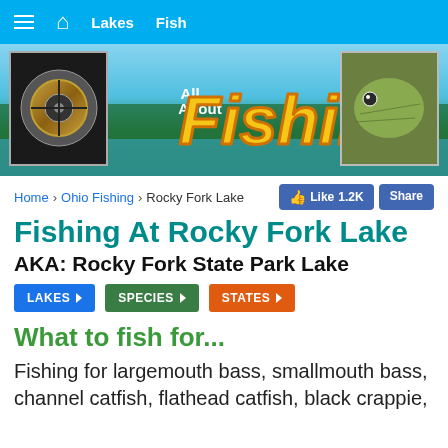≡  ⌂  Lakes  Fish
[Figure (screenshot): All About Fishing banner with fishing reel image on left, large yellow italic 'Fishing' text in center with 'All About' above it, and a close-up fish image on the right, over a lake/forest background.]
Home › Ohio Fishing › Rocky Fork Lake
Fishing At Rocky Fork Lake
AKA: Rocky Fork State Park Lake
LAKES ▶
SPECIES ▶
STATES ▶
What to fish for...
Fishing for largemouth bass, smallmouth bass, channel catfish, flathead catfish, black crappie,